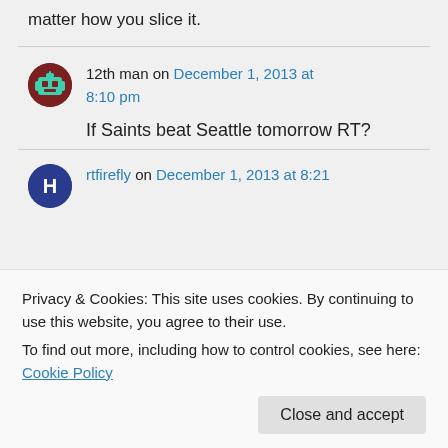matter how you slice it.
12th man on December 1, 2013 at 8:10 pm
If Saints beat Seattle tomorrow RT?
rtfirefly on December 1, 2013 at 8:21
Privacy & Cookies: This site uses cookies. By continuing to use this website, you agree to their use.
To find out more, including how to control cookies, see here: Cookie Policy
with the Niners and Cards, Round 1